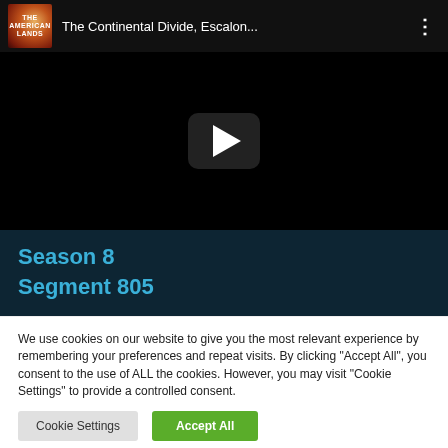[Figure (screenshot): YouTube video thumbnail with black background, showing 'The Continental Divide, Escalon...' title in the top bar with a channel logo and three-dot menu, and a play button in the center]
Season 8
Segment 805
We use cookies on our website to give you the most relevant experience by remembering your preferences and repeat visits. By clicking "Accept All", you consent to the use of ALL the cookies. However, you may visit "Cookie Settings" to provide a controlled consent.
Cookie Settings
Accept All